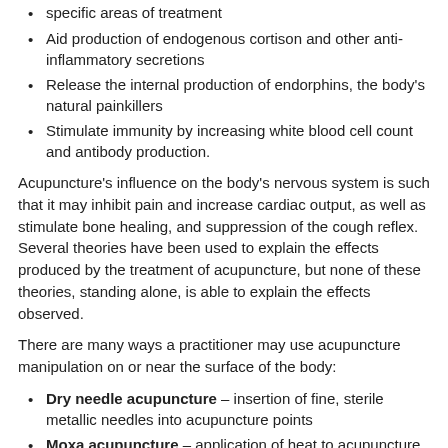specific areas of treatment
Aid production of endogenous cortison and other anti-inflammatory secretions
Release the internal production of endorphins, the body's natural painkillers
Stimulate immunity by increasing white blood cell count and antibody production.
Acupuncture's influence on the body's nervous system is such that it may inhibit pain and increase cardiac output, as well as stimulate bone healing, and suppression of the cough reflex. Several theories have been used to explain the effects produced by the treatment of acupuncture, but none of these theories, standing alone, is able to explain the effects observed.
There are many ways a practitioner may use acupuncture manipulation on or near the surface of the body:
Dry needle acupuncture – insertion of fine, sterile metallic needles into acupuncture points
Moxa acupuncture – application of heat to acupuncture points
Electro acupuncture – application of low voltage electricity to